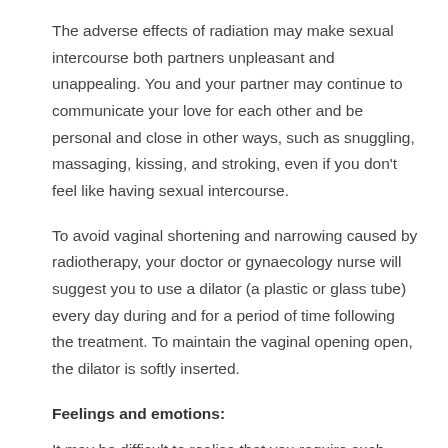The adverse effects of radiation may make sexual intercourse both partners unpleasant and unappealing. You and your partner may continue to communicate your love for each other and be personal and close in other ways, such as snuggling, massaging, kissing, and stroking, even if you don't feel like having sexual intercourse.
To avoid vaginal shortening and narrowing caused by radiotherapy, your doctor or gynaecology nurse will suggest you to use a dilator (a plastic or glass tube) every day during and for a period of time following the treatment. To maintain the vaginal opening open, the dilator is softly inserted.
Feelings and emotions:
It may be difficult to realise that you require such care. The idea of having therapy on their personal and private portions of their body usually shocks and upsets women.